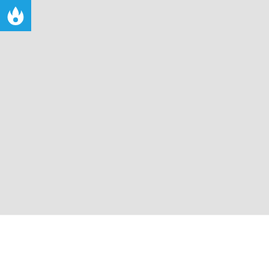[Figure (screenshot): Large light gray placeholder image area taking up most of the page, with a blue icon box in top-left corner containing a white flame logo]
OfficeSuite Pro + PDF APK Download v12.2.40542 [Full Version] 2022